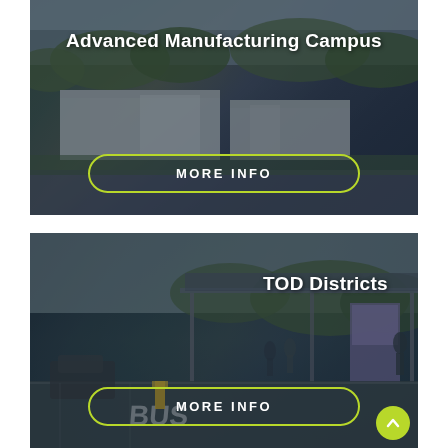[Figure (photo): Aerial rendering of an Advanced Manufacturing Campus showing large industrial buildings surrounded by green trees, with overlay text and a 'MORE INFO' button with lime-green border.]
[Figure (photo): Rendering of a transit-oriented development (TOD) district showing a bus station/shelter with people, a parking lot with BUS painted on the ground, trees in background, with overlay text and a 'MORE INFO' button with lime-green border. A lime-green circular scroll-up arrow button appears at bottom right.]